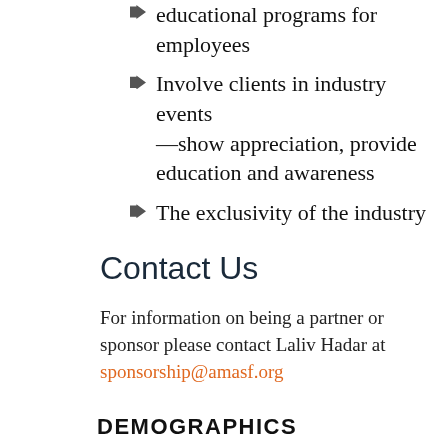educational programs for employees
Involve clients in industry events—show appreciation, provide education and awareness
The exclusivity of the industry
Contact Us
For information on being a partner or sponsor please contact Laliv Hadar at sponsorship@amasf.org
DEMOGRAPHICS
AMA connects you with marketing's movers and shakers...
A High-Level Audience
[Figure (bar-chart): Bar chart showing audience levels, partially visible at bottom of page]
A Range of Roles and Interest Areas
Strategy/Planning 14.7%